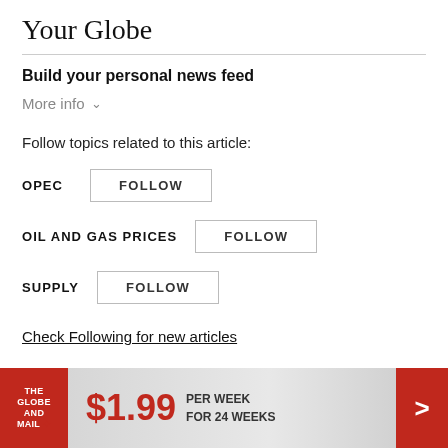Your Globe
Build your personal news feed
More info ∨
Follow topics related to this article:
OPEC  FOLLOW
OIL AND GAS PRICES  FOLLOW
SUPPLY  FOLLOW
Check Following for new articles
[Figure (infographic): Globe and Mail subscription ad banner: The Globe and Mail logo in red, $1.99 price in red, PER WEEK FOR 24 WEEKS text, red arrow button]